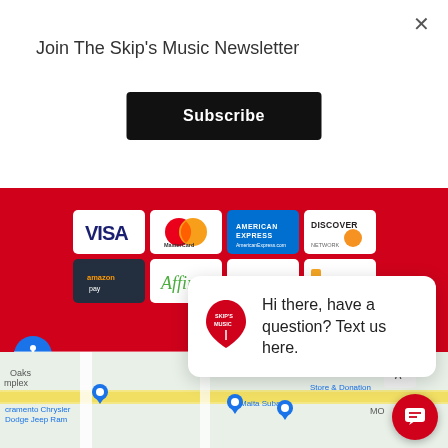Join The Skip's Music Newsletter
Subscribe
[Figure (screenshot): Payment method icons: Visa, Mastercard, American Express, Discover, Amazon Pay, Affirm, PayPal, Synchrony]
close
Hi there, have a question? Text us here.
[Figure (map): Google Maps partial view showing Sacramento area with markers for Sacramento Chrysler Dodge Jeep Ram, Maita Subaru, Store & Donation, and other locations]
SHOW SIDEBAR +